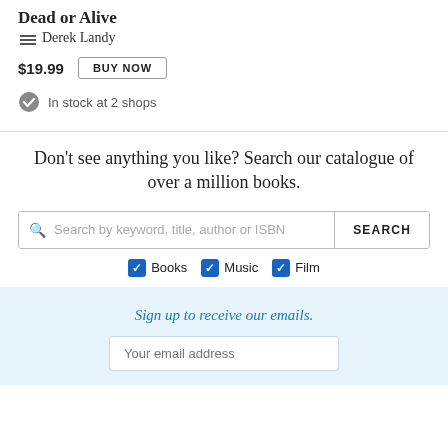Dead or Alive
Derek Landy
$19.99  BUY NOW
In stock at 2 shops
Don't see anything you like? Search our catalogue of over a million books.
Search by keyword, title, author or ISBN  SEARCH
Books  Music  Film
Sign up to receive our emails.
Your email address